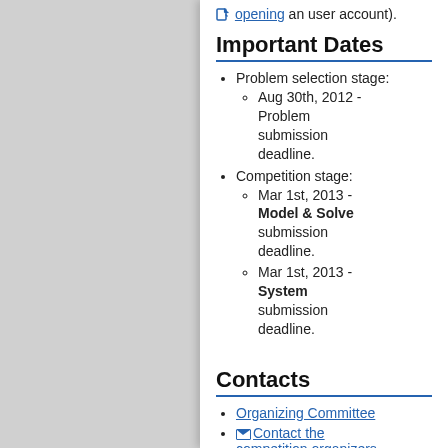opening an user account).
Important Dates
Problem selection stage:
Aug 30th, 2012 - Problem submission deadline.
Competition stage:
Mar 1st, 2013 - Model & Solve submission deadline.
Mar 1st, 2013 - System submission deadline.
Contacts
Organizing Committee
Contact the competition organizers.